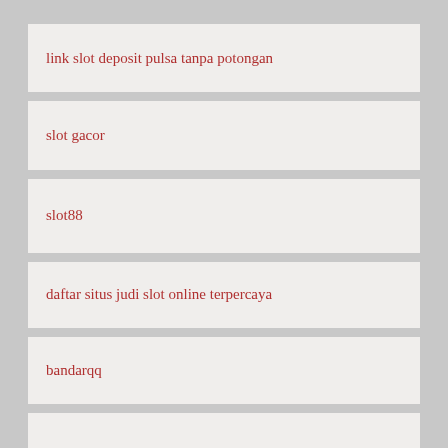link slot deposit pulsa tanpa potongan
slot gacor
slot88
daftar situs judi slot online terpercaya
bandarqq